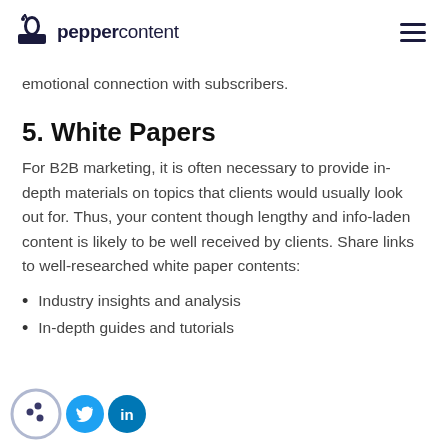peppercontent
emotional connection with subscribers.
5. White Papers
For B2B marketing, it is often necessary to provide in-depth materials on topics that clients would usually look out for. Thus, your content though lengthy and info-laden content is likely to be well received by clients. Share links to well-researched white paper contents:
Industry insights and analysis
In-depth guides and tutorials